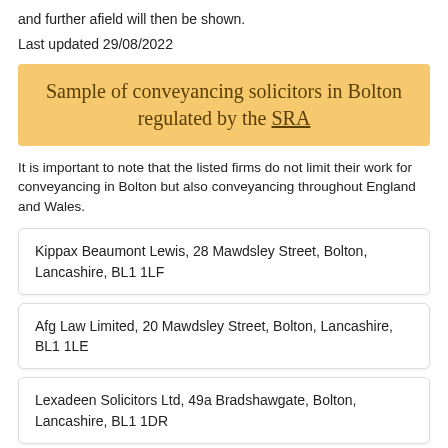and further afield will then be shown.
Last updated 29/08/2022
Sample of conveyancing solicitors in Bolton regulated by the SRA
It is important to note that the listed firms do not limit their work for conveyancing in Bolton but also conveyancing throughout England and Wales.
Kippax Beaumont Lewis, 28 Mawdsley Street, Bolton, Lancashire, BL1 1LF
Afg Law Limited, 20 Mawdsley Street, Bolton, Lancashire, BL1 1LE
Lexadeen Solicitors Ltd, 49a Bradshawgate, Bolton, Lancashire, BL1 1DR